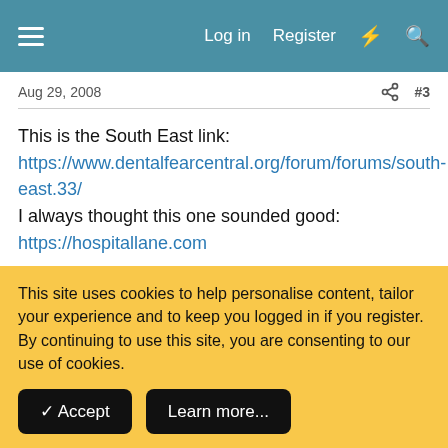Log in  Register
Aug 29, 2008   #3
This is the South East link:
https://www.dentalfearcentral.org/forum/forums/south-east.33/
I always thought this one sounded good:
https://hospitallane.com

You are also within striking distance of London:https://www.dentalfearcentral.org/forum/forums/london.29/

These are private practices... if you are limited to NHS then you
This site uses cookies to help personalise content, tailor your experience and to keep you logged in if you register.
By continuing to use this site, you are consenting to our use of cookies.